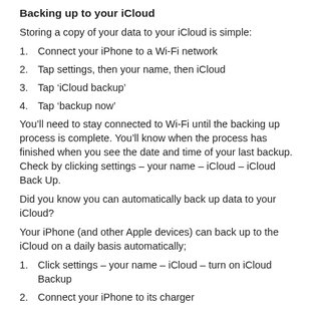Backing up to your iCloud
Storing a copy of your data to your iCloud is simple:
Connect your iPhone to a Wi-Fi network
Tap settings, then your name, then iCloud
Tap ‘iCloud backup’
Tap ‘backup now’
You’ll need to stay connected to Wi-Fi until the backing up process is complete. You’ll know when the process has finished when you see the date and time of your last backup. Check by clicking settings – your name – iCloud – iCloud Back Up.
Did you know you can automatically back up data to your iCloud?
Your iPhone (and other Apple devices) can back up to the iCloud on a daily basis automatically;
Click settings – your name – iCloud – turn on iCloud Backup
Connect your iPhone to its charger